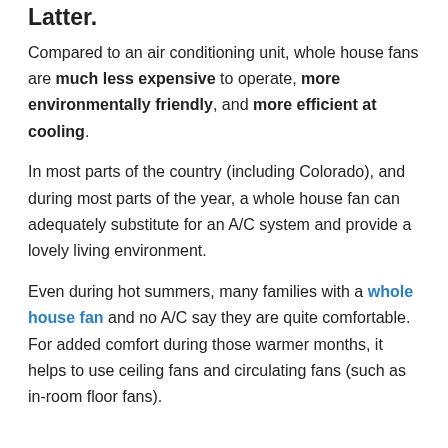Latter.
Compared to an air conditioning unit, whole house fans are much less expensive to operate, more environmentally friendly, and more efficient at cooling.
In most parts of the country (including Colorado), and during most parts of the year, a whole house fan can adequately substitute for an A/C system and provide a lovely living environment.
Even during hot summers, many families with a whole house fan and no A/C say they are quite comfortable. For added comfort during those warmer months, it helps to use ceiling fans and circulating fans (such as in-room floor fans).